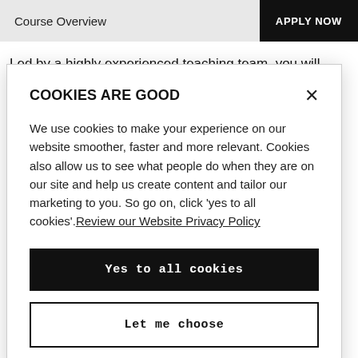Course Overview   APPLY NOW
Led by a highly experienced teaching team, you will learn everything you need to know to undertake ethically sound
COOKIES ARE GOOD
We use cookies to make your experience on our website smoother, faster and more relevant. Cookies also allow us to see what people do when they are on our site and help us create content and tailor our marketing to you. So go on, click 'yes to all cookies'. Review our Website Privacy Policy
Yes to all cookies
Let me choose
supervisor, who will be an expert in an area of direct